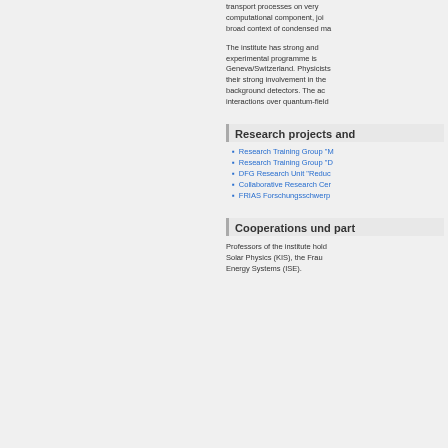transport processes on very computational component, joi broad context of condensed ma
The institute has strong and experimental programme is Geneva/Switzerland. Physicists their strong involvement in the background detectors. The ac interactions over quantum-field
Research projects and
Research Training Group "M
Research Training Group "D
DFG Research Unit "Reduc
Collaborative Research Cer
FRIAS Forschungsschwerp
Cooperations und part
Professors of the institute hold Solar Physics (KIS), the Frau Energy Systems (ISE).